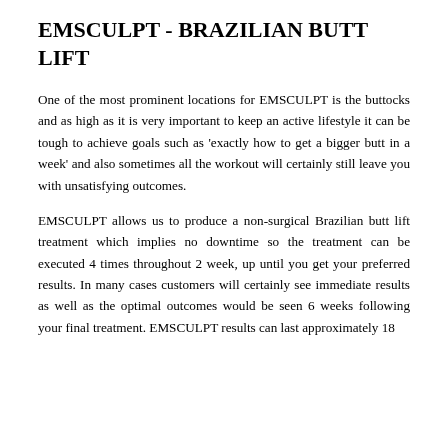EMSCULPT - BRAZILIAN BUTT LIFT
One of the most prominent locations for EMSCULPT is the buttocks and as high as it is very important to keep an active lifestyle it can be tough to achieve goals such as 'exactly how to get a bigger butt in a week' and also sometimes all the workout will certainly still leave you with unsatisfying outcomes.
EMSCULPT allows us to produce a non-surgical Brazilian butt lift treatment which implies no downtime so the treatment can be executed 4 times throughout 2 week, up until you get your preferred results. In many cases customers will certainly see immediate results as well as the optimal outcomes would be seen 6 weeks following your final treatment. EMSCULPT results can last approximately 18